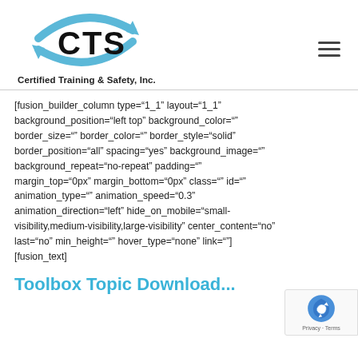[Figure (logo): CTS Certified Training & Safety, Inc. logo with blue arrow arcs and bold CTS text]
Certified Training & Safety, Inc.
[fusion_builder_column type="1_1" layout="1_1" background_position="left top" background_color="" border_size="" border_color="" border_style="solid" border_position="all" spacing="yes" background_image="" background_repeat="no-repeat" padding="" margin_top="0px" margin_bottom="0px" class="" id="" animation_type="" animation_speed="0.3" animation_direction="left" hide_on_mobile="small-visibility,medium-visibility,large-visibility" center_content="no" last="no" min_height="" hover_type="none" link=""] [fusion_text]
Toolbox Topic Download...